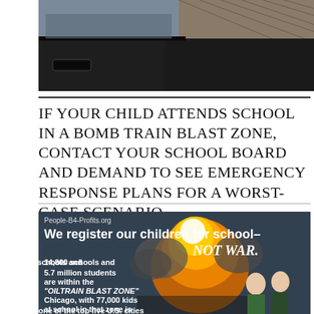[Figure (photo): Top portion of a car interior/exterior photo showing a dark car door handle and rooftop]
IF YOUR CHILD ATTENDS SCHOOL IN A BOMB TRAIN BLAST ZONE, CONTACT YOUR SCHOOL BOARD AND DEMAND TO SEE EMERGENCY RESPONSE PLANS FOR A WORST-CASE SCENARIO
[Figure (infographic): People-B4-Profits.org infographic with dark background, explosion image, and two children. Text reads: 'We register our children for school- NOT WAR.' '14,800 schools and 5.7 million students are within the "OILTRAIN BLAST ZONE"' 'Chicago, with 77,000 kids at school in that zone is one of the top five U.S. cities']